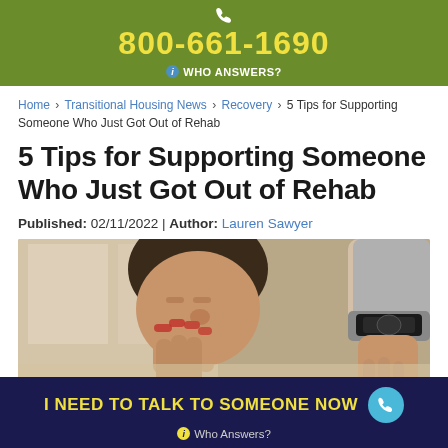800-661-1690
WHO ANSWERS?
Home › Transitional Housing News › Recovery › 5 Tips for Supporting Someone Who Just Got Out of Rehab
5 Tips for Supporting Someone Who Just Got Out of Rehab
Published: 02/11/2022 | Author: Lauren Sawyer
[Figure (photo): A person with hands clasped together near face with eyes closed, appearing distressed or in prayer, with another person's hand on their shoulder]
I NEED TO TALK TO SOMEONE NOW
Who Answers?